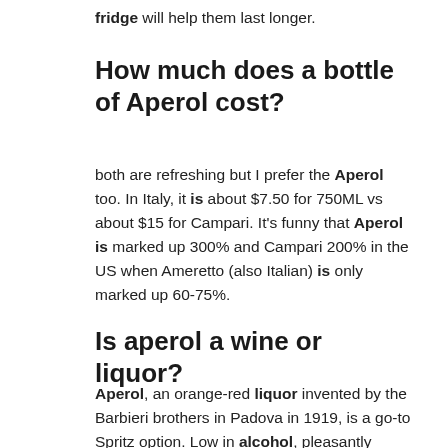fridge will help them last longer.
How much does a bottle of Aperol cost?
both are refreshing but I prefer the Aperol too. In Italy, it is about $7.50 for 750ML vs about $15 for Campari. It's funny that Aperol is marked up 300% and Campari 200% in the US when Ameretto (also Italian) is only marked up 60-75%.
Is aperol a wine or liquor?
Aperol, an orange-red liquor invented by the Barbieri brothers in Padova in 1919, is a go-to Spritz option. Low in alcohol, pleasantly citrusy and lightly bitter, it is a light and fresh aperitif.